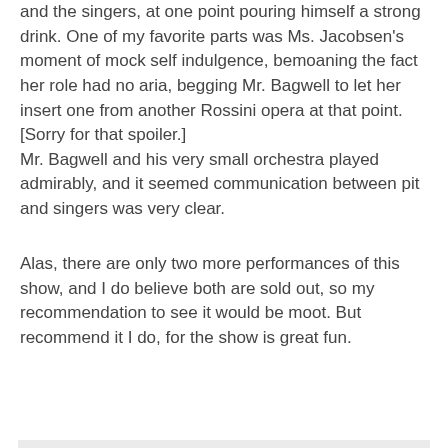and the singers, at one point pouring himself a strong drink. One of my favorite parts was Ms. Jacobsen's moment of mock self indulgence, bemoaning the fact her role had no aria, begging Mr. Bagwell to let her insert one from another Rossini opera at that point. [Sorry for that spoiler.] Mr. Bagwell and his very small orchestra played admirably, and it seemed communication between pit and singers was very clear.
Alas, there are only two more performances of this show, and I do believe both are sold out, so my recommendation to see it would be moot. But recommend it I do, for the show is great fun.
at 9:37 AM
Share
No comments:
Post a Comment